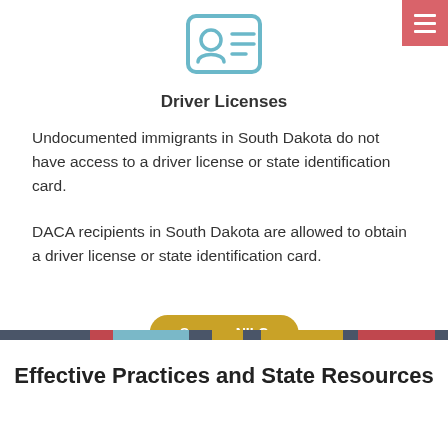[Figure (illustration): ID card icon outline with person and horizontal lines, rendered in light blue/teal stroke style]
Driver Licenses
Undocumented immigrants in South Dakota do not have access to a driver license or state identification card.
DACA recipients in South Dakota are allowed to obtain a driver license or state identification card.
Source: NILC
Effective Practices and State Resources